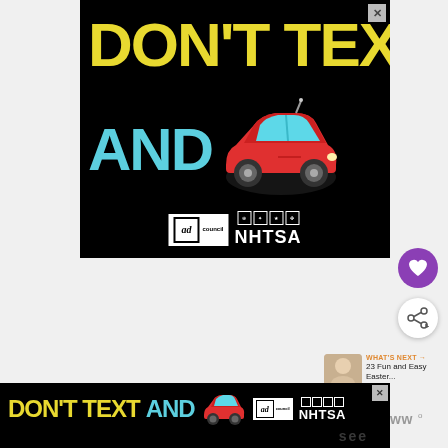[Figure (infographic): NHTSA/Ad Council 'Don't Text and Drive' PSA advertisement on black background. Large yellow bold text reads 'DON'T TEXT', large cyan bold text reads 'AND', red car emoji, Ad Council and NHTSA logos at bottom.]
[Figure (infographic): Heart/save button - purple circle with white heart icon]
[Figure (infographic): Share button - white circle with share icon]
WHAT'S NEXT → 23 Fun and Easy Easter...
[Figure (infographic): Bottom banner: 'DON'T TEXT AND [car emoji]' with Ad Council and NHTSA logos on black background]